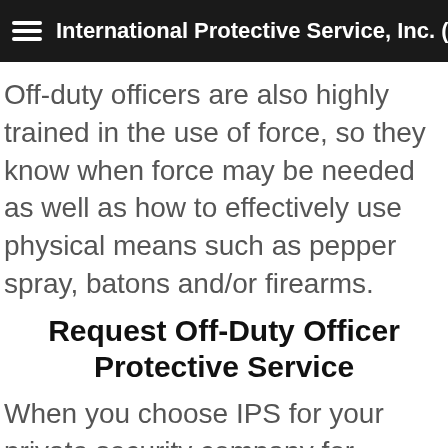International Protective Service, Inc. (IPS)
Off-duty officers are also highly trained in the use of force, so they know when force may be needed as well as how to effectively use physical means such as pepper spray, batons and/or firearms.
Request Off-Duty Officer Protective Service
When you choose IPS for your private security company for personal protection or event security, you can request staffing b…